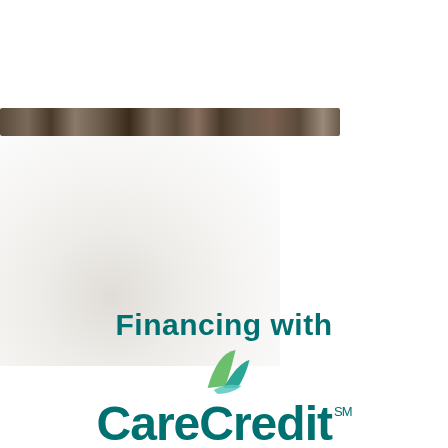[Figure (photo): Partial photo of hair/fur texture strip at top of page, and blurred white/gray background image beneath]
Financing with CareCredit℠